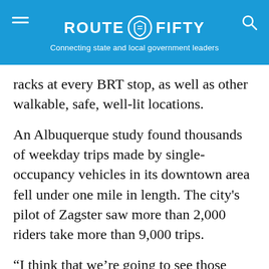ROUTE FIFTY — Connecting state and local government leaders
racks at every BRT stop, as well as other walkable, safe, well-lit locations.
An Albuquerque study found thousands of weekday trips made by single-occupancy vehicles in its downtown area fell under one mile in length. The city's pilot of Zagster saw more than 2,000 riders take more than 9,000 trips.
“I think that we’re going to see those numbers uptick a lot,” Hermanson said.
Dave Nyczepit is a News Editor at Government Executive's Route Fifty and is